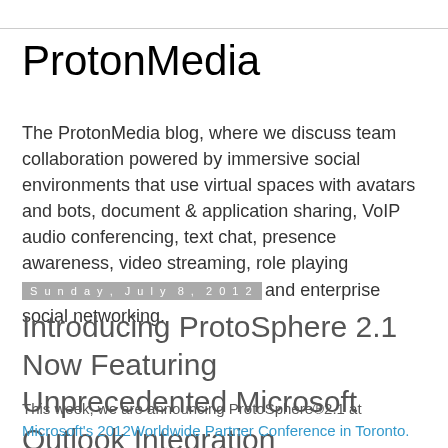ProtonMedia
The ProtonMedia blog, where we discuss team collaboration powered by immersive social environments that use virtual spaces with avatars and bots, document & application sharing, VoIP audio conferencing, text chat, presence awareness, video streaming, role playing simulations, content workflow, and enterprise social networking.
Sunday, July 8, 2012
Introducing ProtoSphere 2.1 Now Featuring Unprecedented Microsoft Outlook Integration
This week, we are announcing ProtoSphere®2.1 at Microsoft's 2012Worldwide Partner Conference in Toronto.